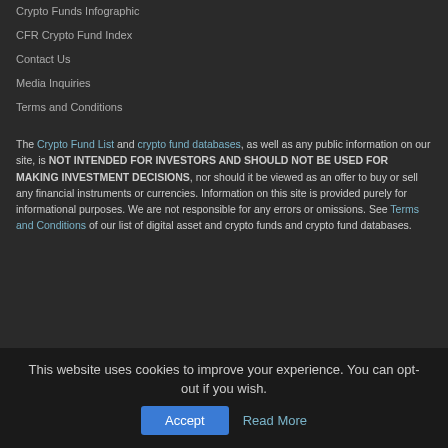Crypto Funds Infographic
CFR Crypto Fund Index
Contact Us
Media Inquiries
Terms and Conditions
The Crypto Fund List and crypto fund databases, as well as any public information on our site, is NOT INTENDED FOR INVESTORS AND SHOULD NOT BE USED FOR MAKING INVESTMENT DECISIONS, nor should it be viewed as an offer to buy or sell any financial instruments or currencies. Information on this site is provided purely for informational purposes. We are not responsible for any errors or omissions. See Terms and Conditions of our list of digital asset and crypto funds and crypto fund databases.
This website uses cookies to improve your experience. You can opt-out if you wish. Accept Read More